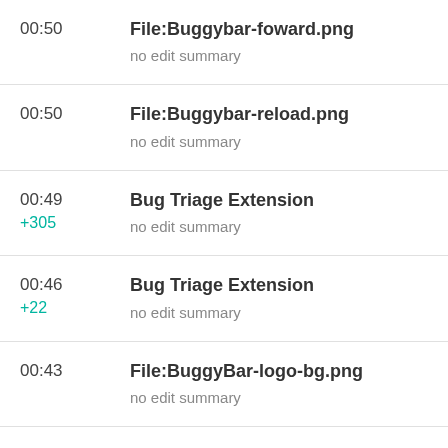00:50  File:Buggybar-foward.png
no edit summary
00:50  File:Buggybar-reload.png
no edit summary
00:49 +305  Bug Triage Extension
no edit summary
00:46 +22  Bug Triage Extension
no edit summary
00:43  File:BuggyBar-logo-bg.png
no edit summary
00:43  Bug Triage Extension